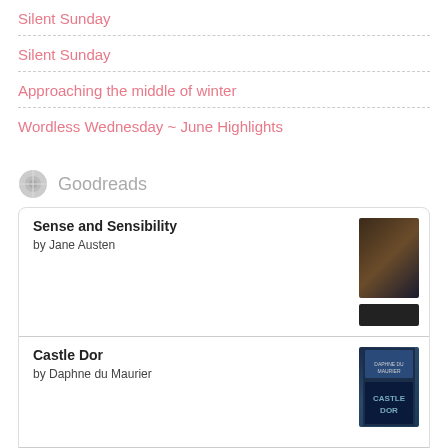Silent Sunday
Silent Sunday
Approaching the middle of winter
Wordless Wednesday ~ June Highlights
Goodreads
| Title | Author | Cover |
| --- | --- | --- |
| Sense and Sensibility | by Jane Austen | [cover image] |
| Castle Dor | by Daphne du Maurier | [cover image] |
[Figure (logo): goodreads logo in a rounded rectangle box]